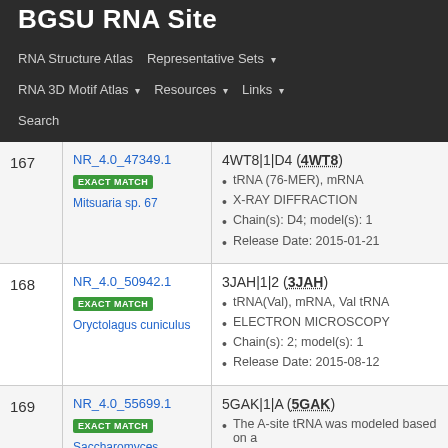BGSU RNA Site
RNA Structure Atlas | Representative Sets ▾ | RNA 3D Motif Atlas ▾ | Resources ▾ | Links ▾ | Search
| # | ID / Match / Organism | Structure Details |
| --- | --- | --- |
| 167 | NR_4.0_47349.1
EXACT MATCH
Mitsuaria sp. 67 | 4WT8|1|D4 (4WT8)
tRNA (76-MER), mRNA
X-RAY DIFFRACTION
Chain(s): D4; model(s): 1
Release Date: 2015-01-21 |
| 168 | NR_4.0_50942.1
EXACT MATCH
Oryctolagus cuniculus | 3JAH|1|2 (3JAH)
tRNA(Val), mRNA, Val tRNA
ELECTRON MICROSCOPY
Chain(s): 2; model(s): 1
Release Date: 2015-08-12 |
| 169 | NR_4.0_55699.1
EXACT MATCH
Saccharomyces | 5GAK|1|A (5GAK)
The A-site tRNA was modeled based on a
ELECTRON MICROSCOPY |